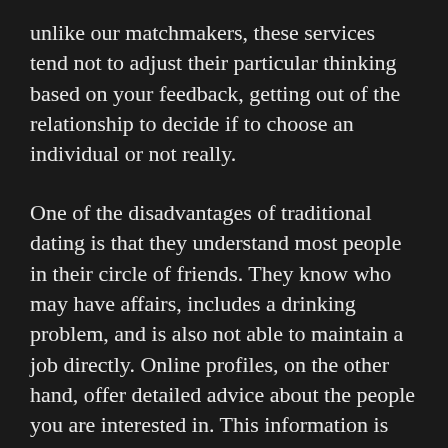unlike our matchmakers, these services tend not to adjust their particular thinking based on your feedback, getting out of the relationship to decide if to choose an individual or not really.
One of the disadvantages of traditional dating is that they understand most people in their circle of friends. They know who may have affairs, includes a drinking problem, and is also not able to maintain a job directly. Online profiles, on the other hand, offer detailed advice about the people you are interested in. This information is very important because on the net profiles usually present a person's best facets. It is important to make note of that web